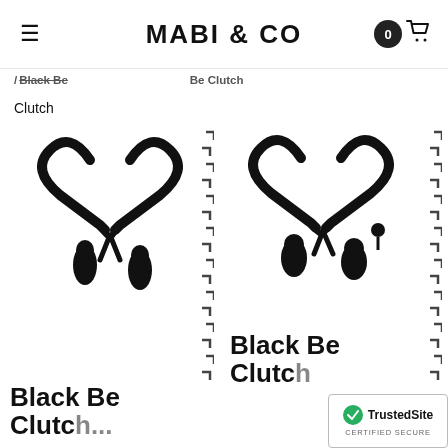MABI & CO
/ Black Be  Be Clutch
Clutch
[Figure (photo): Black Be Clutch product image - black strappy clutch bag handles with tassel details, left product card]
Black Be Clutch
[Figure (photo): Black Be Clutch product image - black strappy clutch bag handles with tassel details, right product card]
Black Be Clutch
[Figure (other): TrustedSite Certified Secure badge]